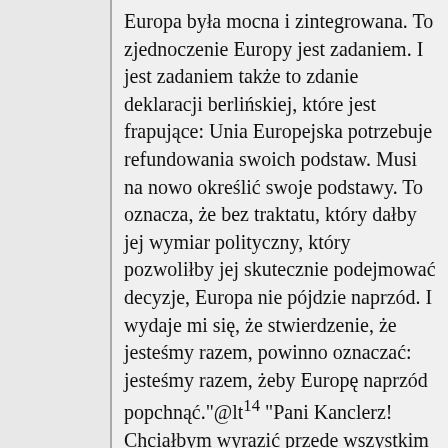Europa była mocna i zintegrowana. To zjednoczenie Europy jest zadaniem. I jest zadaniem także to zdanie deklaracji berlińskiej, które jest frapujące: Unia Europejska potrzebuje refundowania swoich podstaw. Musi na nowo określić swoje podstawy. To oznacza, że bez traktatu, który dałby jej wymiar polityczny, który pozwoliłby jej skutecznie podejmować decyzje, Europa nie pójdzie naprzód. I wydaje mi się, że stwierdzenie, że jesteśmy razem, powinno oznaczać: jesteśmy razem, żeby Europę naprzód popchnąć."@lt¹⁴ "Pani Kanclerz! Chciałbym wyrazić przede wszystkim wdzięczność za to, że udało się Pani wyprowadzić Europę ze stanu melancholii, poczucia upadku i smutku. Europejczycy nie tylko śpiewali "Ode do